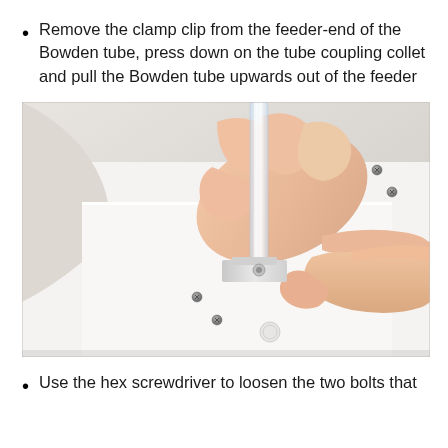Remove the clamp clip from the feeder-end of the Bowden tube, press down on the tube coupling collet and pull the Bowden tube upwards out of the feeder
[Figure (photo): A hand pulling a clear Bowden tube upward out of a white 3D printer feeder assembly, with fingers pressing down on the tube coupling collet. The white printer body with several screws is visible in the background.]
Use the hex screwdriver to loosen the two bolts that